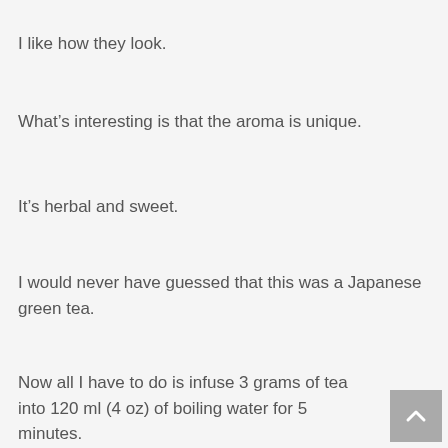I like how they look.
What’s interesting is that the aroma is unique.
It’s herbal and sweet.
I would never have guessed that this was a Japanese green tea.
Now all I have to do is infuse 3 grams of tea into 120 ml (4 oz) of boiling water for 5 minutes.